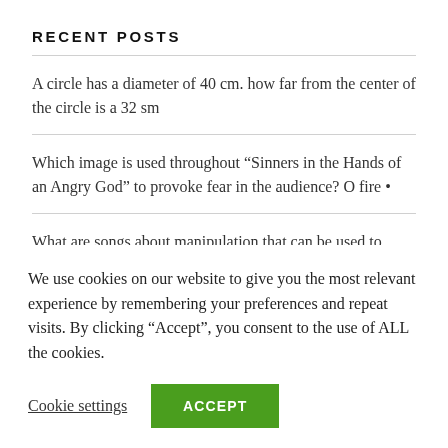RECENT POSTS
A circle has a diameter of 40 cm. how far from the center of the circle is a 32 sm
Which image is used throughout “Sinners in the Hands of an Angry God” to provoke fear in the audience? O fire •
What are songs about manipulation that can be used to describe the book unwind
We use cookies on our website to give you the most relevant experience by remembering your preferences and repeat visits. By clicking “Accept”, you consent to the use of ALL the cookies.
Cookie settings   ACCEPT